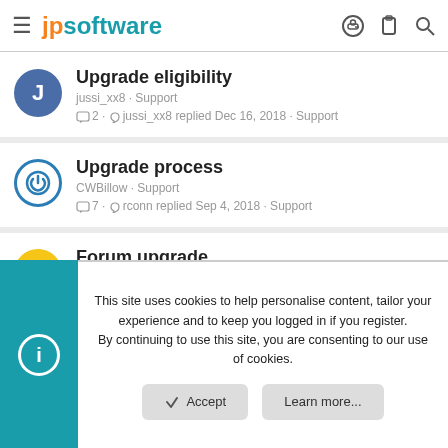jpsoftware
Upgrade eligibility
jussi_xx8 · Support
2 · jussi_xx8 replied Dec 16, 2018 · Support
Upgrade process
CWBillow · Support
7 · rconn replied Sep 4, 2018 · Support
Forum upgrade
Charles G · Support
0 · Charles G replied Dec 15, 2017 · Support
This site uses cookies to help personalise content, tailor your experience and to keep you logged in if you register.
By continuing to use this site, you are consenting to our use of cookies.